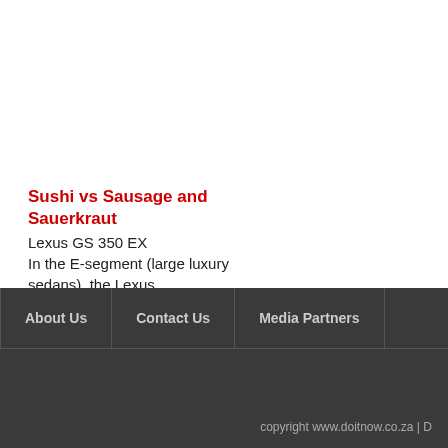Sushi vs Sausage and Sauerkraut
Lexus GS 350 EX
In the E-segment (large luxury sedans), the Lexus...
About Us | Contact Us | Media Partners | copyright www.doitnow.co.za | D